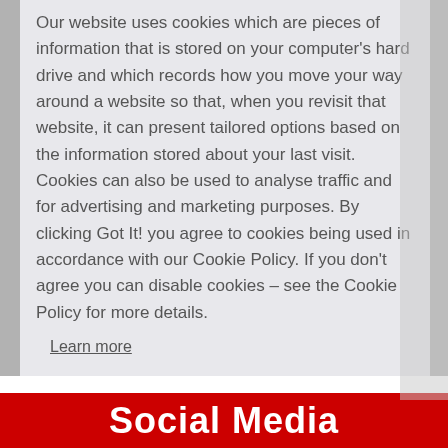Our website uses cookies which are pieces of information that is stored on your computer's hard drive and which records how you move your way around a website so that, when you revisit that website, it can present tailored options based on the information stored about your last visit. Cookies can also be used to analyse traffic and for advertising and marketing purposes. By clicking Got It! you agree to cookies being used in accordance with our Cookie Policy. If you don't agree you can disable cookies – see the Cookie Policy for more details.
Learn more
Got it!
Social Media